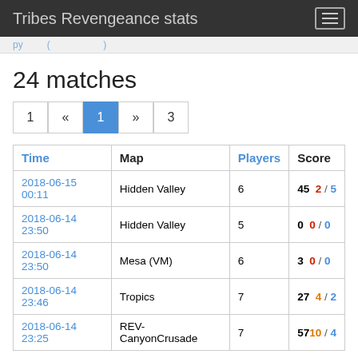Tribes Revengeance stats
24 matches
| Time | Map | Players | Score |
| --- | --- | --- | --- |
| 2018-06-15 00:11 | Hidden Valley | 6 | 45  2 / 5 |
| 2018-06-14 23:50 | Hidden Valley | 5 | 0  0 / 0 |
| 2018-06-14 23:50 | Mesa (VM) | 6 | 3  0 / 0 |
| 2018-06-14 23:46 | Tropics | 7 | 27  4 / 2 |
| 2018-06-14 23:25 | REV-CanyonCrusade | 7 | 57 10 / 4 |